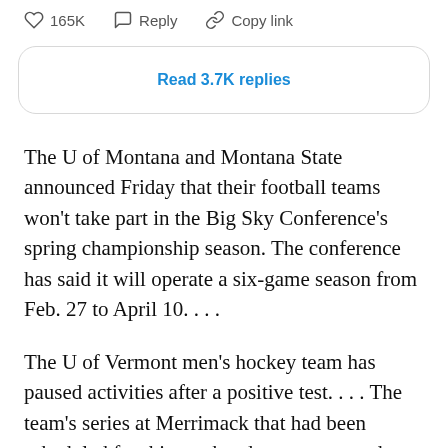[Figure (screenshot): Social media post action bar showing heart icon with 165K likes, Reply button, and Copy link button]
Read 3.7K replies
The U of Montana and Montana State announced Friday that their football teams won't take part in the Big Sky Conference's spring championship season. The conference has said it will operate a six-game season from Feb. 27 to April 10. . . .
The U of Vermont men's hockey team has paused activities after a positive test. . . . The team's series at Merrimack that had been scheduled for this weekend was postponed. . . .